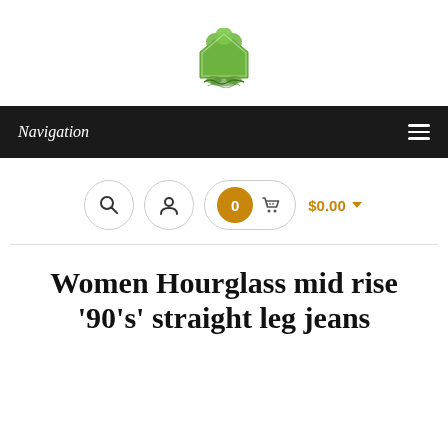[Figure (logo): Green house/leaf logo with hands icon, e-commerce website logo]
Navigation
[Figure (infographic): E-commerce toolbar icons row: search icon circle, user icon circle, badge showing 0 with shopping basket icon, $0.00 with dropdown arrow]
Women Hourglass mid rise '90's' straight leg jeans